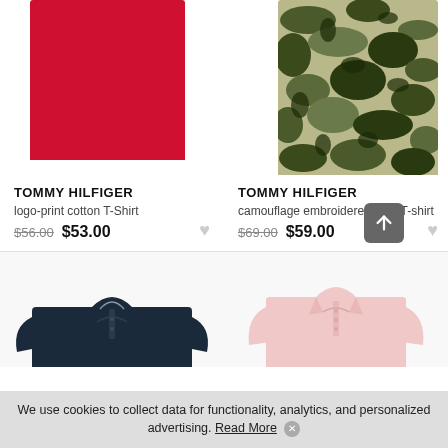[Figure (photo): Red Tommy Hilfiger T-shirt, cropped showing fabric]
[Figure (photo): Camouflage Tommy Hilfiger T-shirt, cropped showing fabric]
TOMMY HILFIGER
logo-print cotton T-Shirt
$56.00 $53.00
TOMMY HILFIGER
camouflage embroidered-logo T-shirt
$69.00 $59.00
[Figure (photo): Navy blue Tommy Hilfiger polo shirt, cropped showing collar area]
[Figure (photo): Pink Tommy Hilfiger shirt, cropped showing collar area]
We use cookies to collect data for functionality, analytics, and personalized advertising. Read More